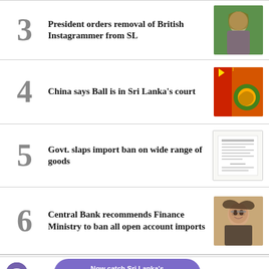3 President orders removal of British Instagrammer from SL
4 China says Ball is in Sri Lanka's court
5 Govt. slaps import ban on wide range of goods
6 Central Bank recommends Finance Ministry to ban all open account imports
Now catch Sri Lanka's 24/7 breaking news platform